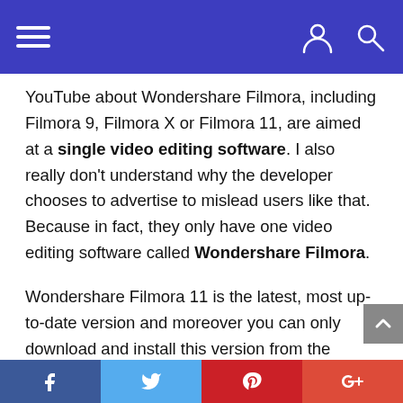Navigation bar with hamburger menu, user icon, and search icon
YouTube about Wondershare Filmora, including Filmora 9, Filmora X or Filmora 11, are aimed at a single video editing software. I also really don't understand why the developer chooses to advertise to mislead users like that. Because in fact, they only have one video editing software called Wondershare Filmora.
Wondershare Filmora 11 is the latest, most up-to-date version and moreover you can only download and install this version from the Wondershare homepage. Filmora 9 and Filmora X versions are defunct. Although you can download them somewhere on the internet, they are not the official
Facebook, Twitter, Pinterest, Google+ share buttons